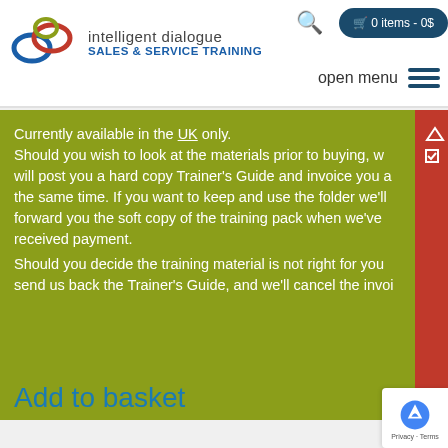[Figure (logo): Intelligent Dialogue Sales & Service Training logo with overlapping circles icon]
0 items - 0$
open menu
Currently available in the UK only.
Should you wish to look at the materials prior to buying, we will post you a hard copy Trainer's Guide and invoice you at the same time. If you want to keep and use the folder we'll forward you the soft copy of the training pack when we've received payment.
Should you decide the training material is not right for you, send us back the Trainer's Guide, and we'll cancel the invoi…
Add to basket